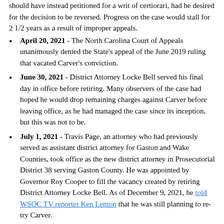should have instead petitioned for a writ of certiorari, had he desired for the decision to be reversed. Progress on the case would stall for 2 1/2 years as a result of improper appeals.
April 20, 2021 - The North Carolina Court of Appeals unanimously denied the State's appeal of the June 2019 ruling that vacated Carver's conviction.
June 30, 2021 - District Attorney Locke Bell served his final day in office before retiring. Many observers of the case had hoped he would drop remaining charges against Carver before leaving office, as he had managed the case since its inception, but this was not to be.
July 1, 2021 - Travis Page, an attorney who had previously served as assistant district attorney for Gaston and Wake Counties, took office as the new district attorney in Prosecutorial District 38 serving Gaston County. He was appointed by Governor Roy Cooper to fill the vacancy created by retiring District Attorney Locke Bell. As of December 9, 2021, he told WSOC TV reporter Ken Lemon that he was still planning to re-try Carver.
October 27, 2021 - The Supreme Court of North Carolina denied the State's petition to hear Carver's case.